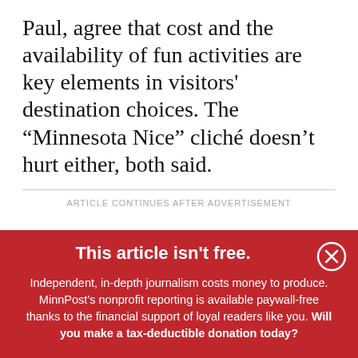Paul, agree that cost and the availability of fun activities are key elements in visitors' destination choices. The “Minnesota Nice” cliché doesn’t hurt either, both said.
ARTICLE CONTINUES AFTER ADVERTISEMENT
This article isn't free.
Independent, in-depth journalism costs money to produce. MinnPost’s nonprofit reporting is available paywall-free thanks to the financial support of loyal readers like you. Will you make a tax-deductible donation today?